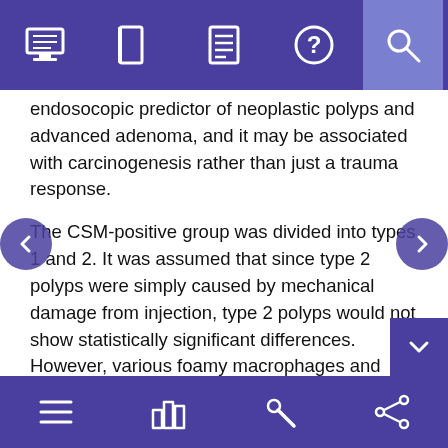Navigation bar with icons: home/monitor, book, document, help, search
endosocopic predictor of neoplastic polyps and advanced adenoma, and it may be associated with carcinogenesis rather than just a trauma response.
The CSM-positive group was divided into types 1 and 2. It was assumed that since type 2 polyps were simply caused by mechanical damage from injection, type 2 polyps would not show statistically significant differences. However, various foamy macrophages and neoplastic features were histologically observed in type 2 CSM-positive polyps. Similar to type 1 polyps, the proportion of neoplastic polyps in type 2 was significantly different from that in CSM-negative polyps (type 0), suggesting that CSM is not a simple physical phenomenon.
Macrophages are important immune cells involved in various biological processes, such as development, metabolic regulation,
Bottom navigation bar with icons: menu, bar chart, wrench/settings, share